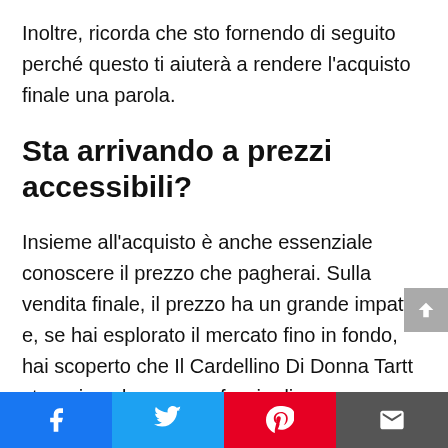Inoltre, ricorda che sto fornendo di seguito perché questo ti aiuterà a rendere l'acquisto finale una parola.
Sta arrivando a prezzi accessibili?
Insieme all'acquisto è anche essenziale conoscere il prezzo che pagherai. Sulla vendita finale, il prezzo ha un grande impatto e, se hai esplorato il mercato fino in fondo, hai scoperto che Il Cardellino Di Donna Tartt sta arrivando con una fascia di prezzo diversa.
Sai cosa causa questa differenza? Bene, non ti
[Figure (other): Social share bar with Facebook, Twitter, Pinterest, and email icons at the bottom of the page]